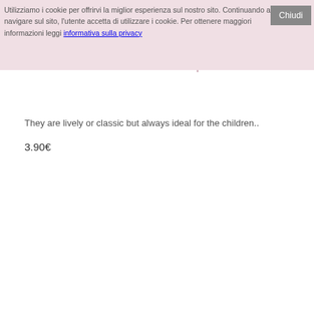Utilizziamo i cookie per offrirvi la miglior esperienza sul nostro sito. Continuando a navigare sul sito, l'utente accetta di utilizzare i cookie. Per ottenere maggiori informazioni leggi informativa sulla privacy
The Most Beautiful Cross-Stitch Motifs 8 - Special
They are lively or classic but always ideal for the children..
3.90€
[Figure (screenshot): Bottom toolbar with cart icon, heart/wishlist icon, and comparison icon on grey background]
[Figure (photo): Book cover image: 'I Motivi più belli a Punto a Croce - Speciale bambini' on yellow background with cross-stitch character illustrations]